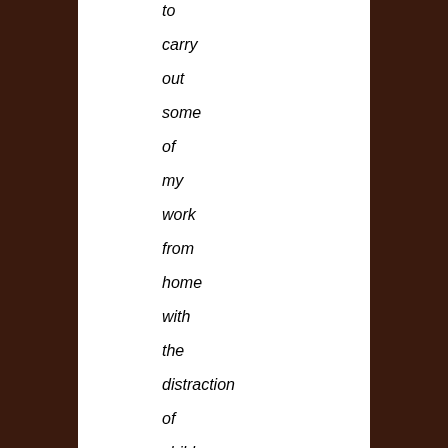to carry out some of my work from home with the distraction of children – its the old joke that men can't multi